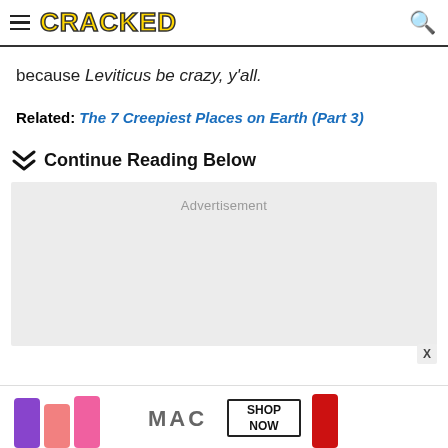CRACKED
because Leviticus be crazy, y'all.
Related: The 7 Creepiest Places on Earth (Part 3)
Continue Reading Below
[Figure (other): Advertisement placeholder box (light gray)]
[Figure (other): MAC cosmetics lipstick advertisement banner at bottom of page]